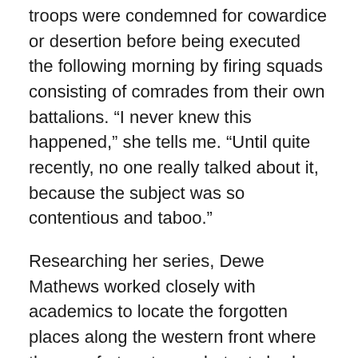troops were condemned for cowardice or desertion before being executed the following morning by firing squads consisting of comrades from their own battalions. “I never knew this happened,” she tells me. “Until quite recently, no one really talked about it, because the subject was so contentious and taboo.”
Researching her series, Dewe Mathews worked closely with academics to locate the forgotten places along the western front where these unfortunate combatants had been shot. She then travelled to each spot and set up her camera there at dawn, recording whatever could be seen a century after the executions had taken place.
The results are eerie and elegiac – otherwise unremarkable, empty landscapes infused with a powerful sense of mourning, outrage and loss.”